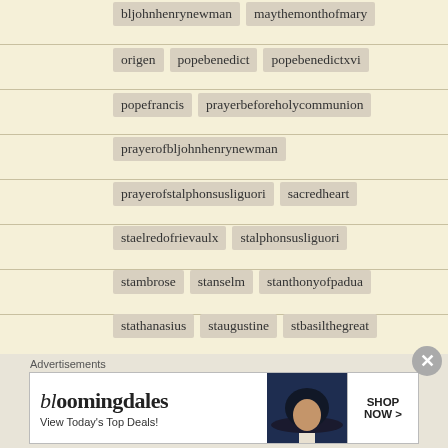bljohnhenrynewman  maythemonthofmary
origen  popebenedict  popebenedictxvi
popefrancis  prayerbeforeholycommunion
prayerofbljohnhenrynewman
prayerofstalphonsusliguori  sacredheart
staelredofrievaulx  stalphonsusliguori
stambrose  stanselm  stanthonyofpadua
stathanasius  staugustine  stbasilthegreat
stbedethevenerable  stbernard
stbernardineofsiena  stbernardofclairvaux
Advertisements
[Figure (screenshot): Bloomingdale's advertisement banner: 'View Today's Top Deals!' with SHOP NOW > button]